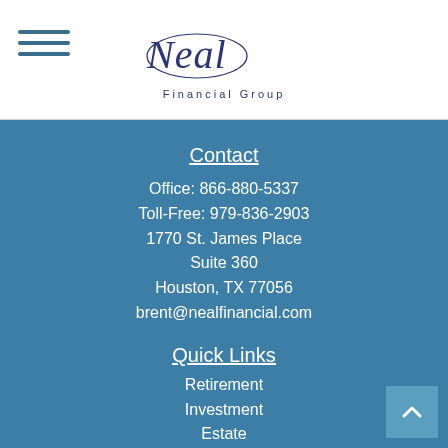[Figure (logo): Neal Financial Group logo with stylized script 'Neal' and 'Financial Group' text below]
Contact
Office: 866-880-5337
Toll-Free: 979-836-2903
1770 St. James Place
Suite 360
Houston, TX 77056
brent@nealfinancial.com
Quick Links
Retirement
Investment
Estate
Insurance
Tax